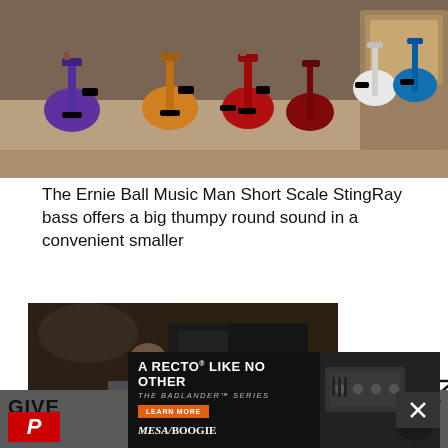[Figure (photo): Multiple Ernie Ball Music Man Short Scale StingRay bass guitars displayed in various colors (purple, orange, red, dark red, white, silver, blue) on a floor in front of amplifiers]
The Ernie Ball Music Man Short Scale StingRay bass offers a big thumpy round sound in a convenient smaller
[Figure (screenshot): Video thumbnail showing a person playing a bass guitar in front of amplifiers, with a play button overlay]
[Figure (infographic): Social media share icons: Facebook, Twitter, and email/envelope icons]
GIVE
TEST
[Figure (photo): Mesa/Boogie advertisement: A RECTO LIKE NO OTHER - THE BADLANDER SERIES, with an image of a guitar amplifier head and a guitar]
[Figure (logo): Premier Guitar (PG) logo in red]